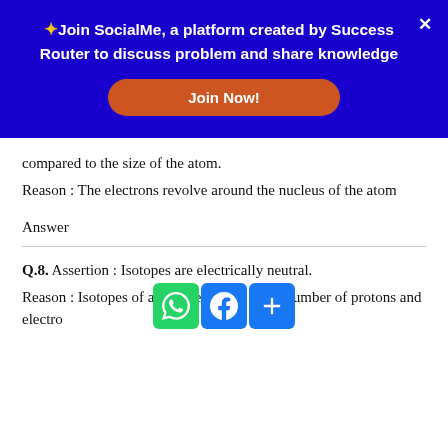[Figure (infographic): Blue banner advertisement for SocialMe platform by Success Router with a Join Now button and close X button]
compared to the size of the atom.
Reason : The electrons revolve around the nucleus of the atom
Answer
Q.8. Assertion : Isotopes are electrically neutral.
Reason : Isotopes of an element have equal number of protons and electrons